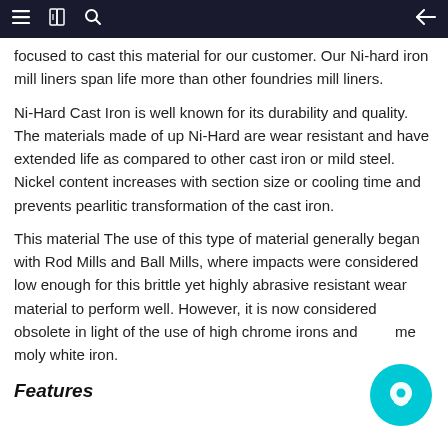≡  [book icon]  [search icon]  ←
focused to cast this material for our customer. Our Ni-hard iron mill liners span life more than other foundries mill liners.
Ni-Hard Cast Iron is well known for its durability and quality. The materials made of up Ni-Hard are wear resistant and have extended life as compared to other cast iron or mild steel. Nickel content increases with section size or cooling time and prevents pearlitic transformation of the cast iron.
This material The use of this type of material generally began with Rod Mills and Ball Mills, where impacts were considered low enough for this brittle yet highly abrasive resistant wear material to perform well. However, it is now considered obsolete in light of the use of high chrome irons and some moly white iron.
Features